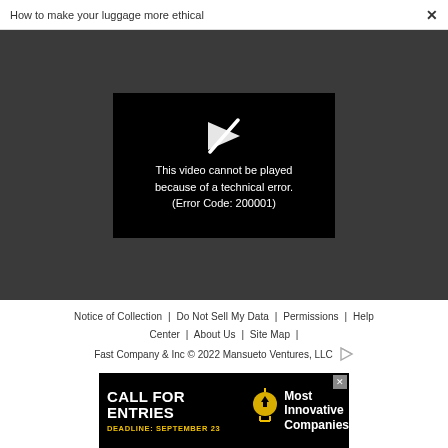How to make your luggage more ethical  ×
[Figure (screenshot): Video player error screen on dark gray background. Black video box shows a broken play button icon and text: 'This video cannot be played because of a technical error. (Error Code: 200001)']
Notice of Collection | Do Not Sell My Data | Permissions | Help Center | About Us | Site Map | Fast Company & Inc © 2022 Mansueto Ventures, LLC
[Figure (screenshot): Advertisement banner: CALL FOR ENTRIES DEADLINE: SEPTEMBER 23, Most Innovative Companies, with lightbulb icon]